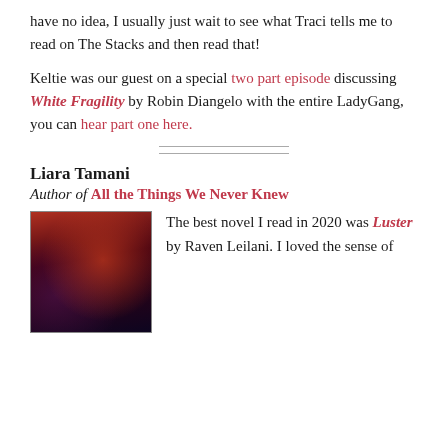have no idea, I usually just wait to see what Traci tells me to read on The Stacks and then read that!
Keltie was our guest on a special two part episode discussing White Fragility by Robin Diangelo with the entire LadyGang, you can hear part one here.
[Figure (other): Two horizontal divider lines centered on the page]
Liara Tamani
Author of All the Things We Never Knew
[Figure (photo): Dark book cover with red and purple tones]
The best novel I read in 2020 was Luster by Raven Leilani. I loved the sense of